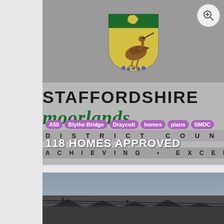[Figure (photo): Staffordshire Moorlands District Council sign/logo showing a coat of arms with a curlew bird on a green and yellow shield, with text reading STAFFORDSHIRE moorlands DISTRICT COUNCIL ACHIEVING EXCELLENCE. Pink tag pills reading A50, Blythe Bridge, Draycott, homes, plans, SMDC are overlaid, and a white bold title '118 HOMES APPROVED' is overlaid at the bottom.]
118 HOMES APPROVED
[Figure (photo): A photograph showing a cloudy sky and rooftops/buildings in a town, partially loaded or cropped. A reCAPTCHA badge is overlaid in the bottom-right corner with Privacy and Terms links.]